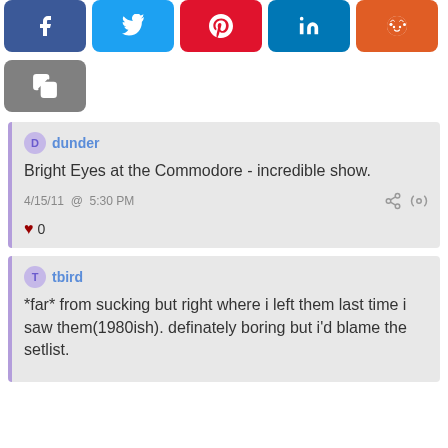[Figure (infographic): Social sharing buttons: Facebook (blue), Twitter (light blue), Pinterest (red), LinkedIn (teal), Reddit (orange-red), and a gray copy/clipboard button below]
dunder
Bright Eyes at the Commodore - incredible show.
4/15/11 @ 5:30 PM
♥ 0
tbird
*far* from sucking but right where i left them last time i saw them(1980ish). definately boring but i'd blame the setlist.